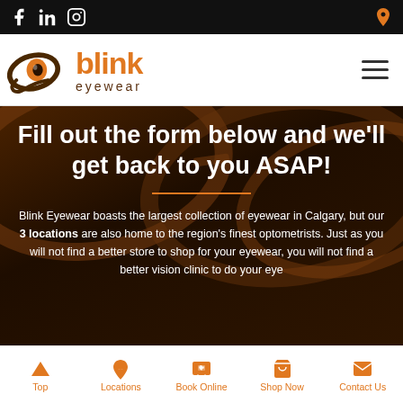Blink Eyewear website header with social media icons (Facebook, LinkedIn, Instagram) and location pin
[Figure (logo): Blink Eyewear logo — orange eye/swirl icon with 'blink' in orange bold text and 'eyewear' below in brown]
Fill out the form below and we'll get back to you ASAP!
Blink Eyewear boasts the largest collection of eyewear in Calgary, but our 3 locations are also home to the region's finest optometrists. Just as you will not find a better store to shop for your eyewear, you will not find a better vision clinic to do your eye
Top | Locations | Book Online | Shop Now | Contact Us